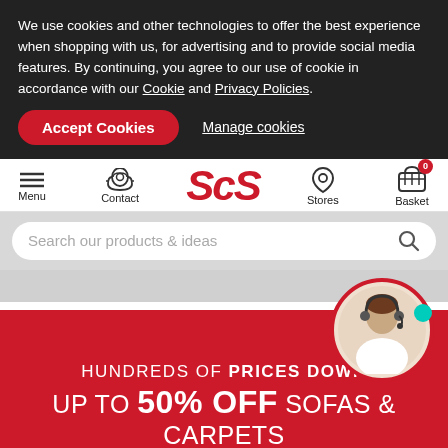We use cookies and other technologies to offer the best experience when shopping with us, for advertising and to provide social media features. By continuing, you agree to our use of cookie in accordance with our Cookie and Privacy Policies.
Accept Cookies
Manage cookies
Menu | Contact | ScS | Stores | Basket 0
Search our products & ideas
[Figure (screenshot): Grey spacer strip below search bar, with circular avatar of a female customer service agent wearing a headset, bordered in red, with a teal online indicator dot]
HUNDREDS OF PRICES DOWN
UP TO 50% OFF SOFAS & CARPETS
SHOP ALL SALE